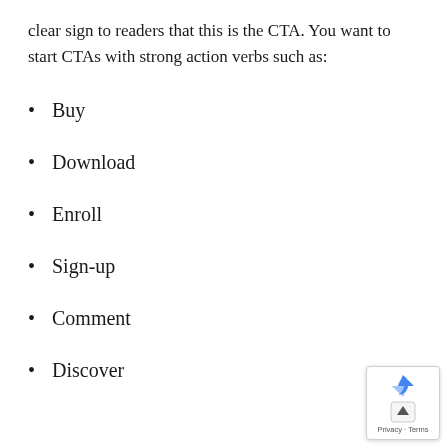clear sign to readers that this is the CTA. You want to start CTAs with strong action verbs such as:
Buy
Download
Enroll
Sign-up
Comment
Discover